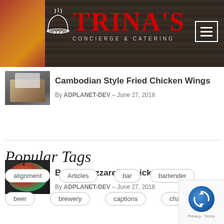[Figure (logo): Trina's Concierge & Catering logo on dark wood background with red serif text and a serving cloche icon]
Cambodian Style Fried Chicken Wings
By ADPLANET-DEV - June 27, 2018
Baked Mozzarella Chicken Rolls
By ADPLANET-DEV - June 27, 2018
Popular Tags
alignment
Articles
bar
bartender
beer
brewery
captions
chat